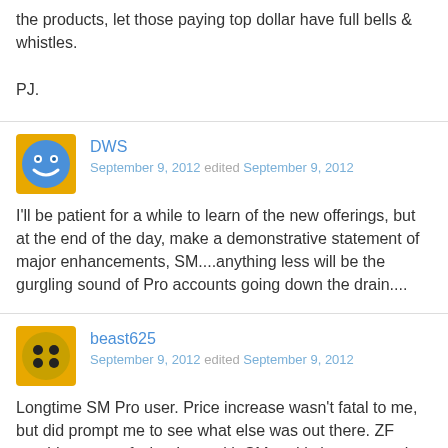the products, let those paying top dollar have full bells & whistles.

PJ.
DWS
September 9, 2012 edited September 9, 2012
I'll be patient for a while to learn of the new offerings, but at the end of the day, make a demonstrative statement of major enhancements, SM....anything less will be the gurgling sound of Pro accounts going down the drain....
beast625
September 9, 2012 edited September 9, 2012
Longtime SM Pro user. Price increase wasn't fatal to me, but did prompt me to see what else was out there. ZF provides most of what I get with SM and is less expensive and simpler to customize. And their iPad app works. So I will not be renewing with SM. My first "pro" sale was made through SM.